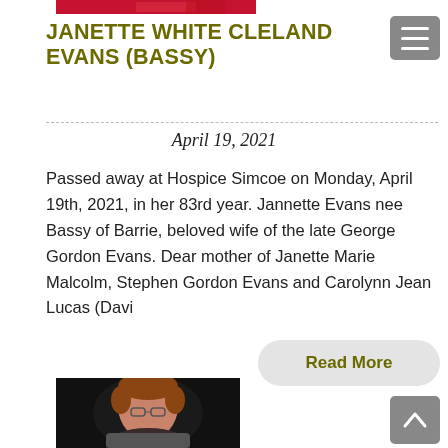[Figure (photo): Top partial photo strip showing red clothing/background]
JANETTE WHITE CLELAND EVANS (BASSY)
April 19, 2021
Passed away at Hospice Simcoe on Monday, April 19th, 2021, in her 83rd year. Jannette Evans nee Bassy of Barrie, beloved wife of the late George Gordon Evans. Dear mother of Janette Marie Malcolm, Stephen Gordon Evans and Carolynn Jean Lucas (Davi
Read More
[Figure (photo): Portrait photo of an elderly woman with short brown hair wearing glasses, against a dark background]